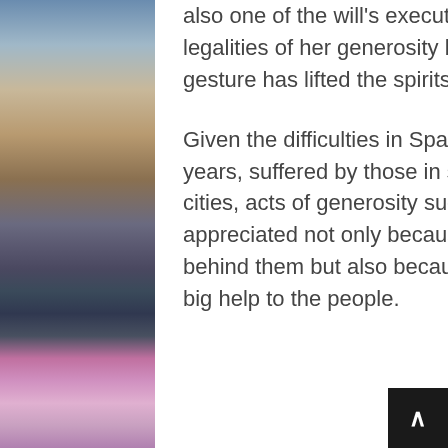[Figure (photo): Background photo of a Spanish city scene with fountains and illuminated buildings on the left side, and a grand classical building on the right side, with colorful lights.]
also one of the will's executors, must still examine the legalities of her generosity but already the grand gesture has lifted the spirits of the locals.
Given the difficulties in Spain for the last several years, suffered by those in small towns as well as big cities, acts of generosity such as this are greatly appreciated not only because of the noble thought behind them but also because they are an incredibly big help to the people.